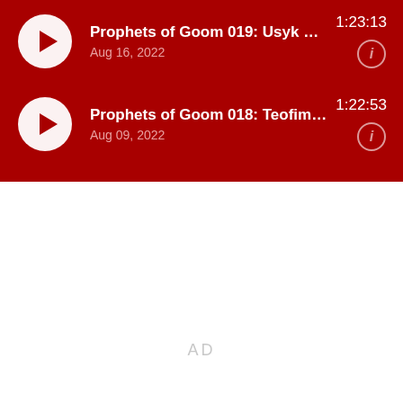[Figure (screenshot): Podcast app UI showing two episode rows on a dark red background. Episode 1: 'Prophets of Goom 019: Usyk vs Jo...' Aug 16, 2022, duration 1:23:13. Episode 2: 'Prophets of Goom 018: Teofimo L...' Aug 09, 2022, duration 1:22:53. Each row has a circular play button on the left and an info icon on the right. Below the red section is white space with an 'AD' label.]